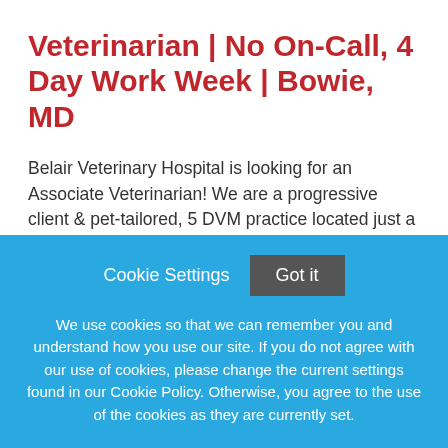Veterinarian | No On-Call, 4 Day Work Week | Bowie, MD
Belair Veterinary Hospital is looking for an Associate Veterinarian! We are a progressive client & pet-tailored, 5 DVM practice located just a few minutes outside of Washington DC. We have a collaborative team approach
This job listing is no longer active.
Cookie Settings   Got it
We use cookies so that we can remember you and understand how you use our site. If you do not agree with our use of cookies, please change the current settings found in our Cookie Policy. Otherwise, you agree to the use of the cookies as they are currently set.